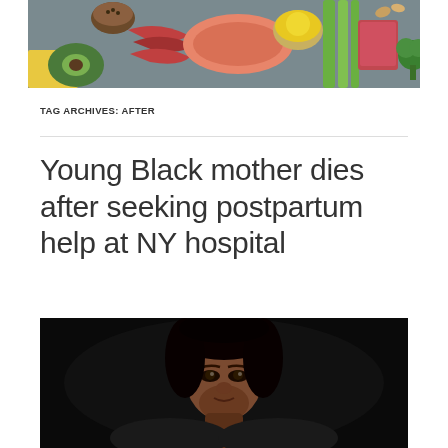[Figure (photo): Header banner photo showing various foods including meats, avocado, eggs, vegetables, and grains arranged on a dark surface]
TAG ARCHIVES: AFTER
Young Black mother dies after seeking postpartum help at NY hospital
[Figure (photo): Portrait photo of a young Black woman with dark hair against a dark background]